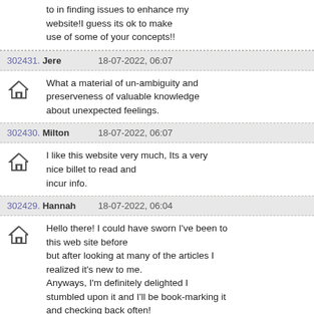to in finding issues to enhance my website!I guess its ok to make use of some of your concepts!!
302431. Jere — 18-07-2022, 06:07 — What a material of un-ambiguity and preserveness of valuable knowledge about unexpected feelings.
302430. Milton — 18-07-2022, 06:07 — I like this website very much, Its a very nice billet to read and incur info.
302429. Hannah — 18-07-2022, 06:04 — Hello there! I could have sworn I've been to this web site before but after looking at many of the articles I realized it's new to me. Anyways, I'm definitely delighted I stumbled upon it and I'll be book-marking it and checking back often!
302428. Maynard — 18-07-2022, 06:03